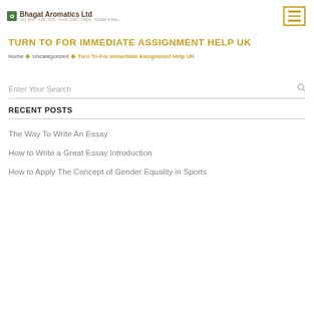Bhagat Aromatics Ltd
TURN TO FOR IMMEDIATE ASSIGNMENT HELP UK
Home ► Uncategorized ► Turn To For Immediate Assignment Help UK
Enter Your Search
RECENT POSTS
The Way To Write An Essay
How to Write a Great Essay Introduction
How to Apply The Concept of Gender Equality in Sports